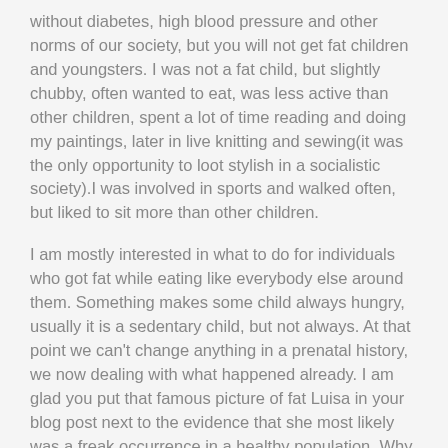without diabetes, high blood pressure and other norms of our society, but you will not get fat children and youngsters. I was not a fat child, but slightly chubby, often wanted to eat, was less active than other children, spent a lot of time reading and doing my paintings, later in live knitting and sewing(it was the only opportunity to loot stylish in a socialistic society).I was involved in sports and walked often, but liked to sit more than other children.
I am mostly interested in what to do for individuals who got fat while eating like everybody else around them. Something makes some child always hungry, usually it is a sedentary child, but not always. At that point we can't change anything in a prenatal history, we now dealing with what happened already. I am glad you put that famous picture of fat Luisa in your blog post next to the evidence that she most likely was a freak occurrence in a healthy population. Why SHE became fat? Probably, the percentage of consumed carbs is not important for the whole population eating any traditional diet, after substantial adaptation